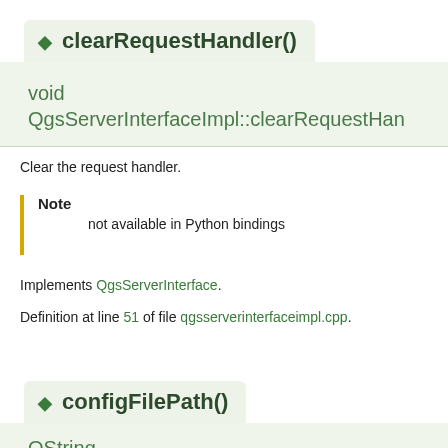◆ clearRequestHandler()
void QgsServerInterfaceImpl::clearRequestHandler
Clear the request handler.
Note
not available in Python bindings
Implements QgsServerInterface.
Definition at line 51 of file qgsserverinterfaceimpl.cpp.
◆ configFilePath()
QString QgsServerInterfaceImpl::configFilePath ( )